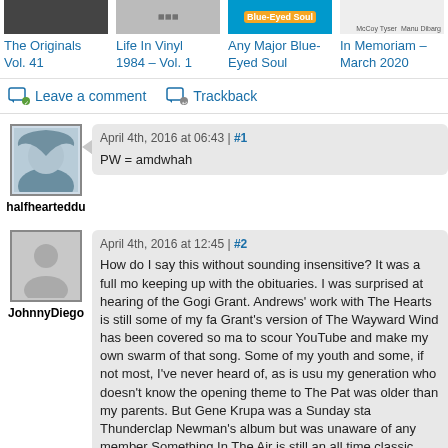[Figure (screenshot): Four album covers: The Originals Vol. 41, Life In Vinyl 1984 – Vol. 1, Any Major Blue-Eyed Soul, In Memoriam – March 2020]
The Originals Vol. 41
Life In Vinyl 1984 – Vol. 1
Any Major Blue-Eyed Soul
In Memoriam – March 2020
Leave a comment
Trackback
April 4th, 2016 at 06:43 | #1
PW = amdwhah
halfhearteddu
April 4th, 2016 at 12:45 | #2
How do I say this without sounding insensitive? It was a full mo keeping up with the obituaries. I was surprised at hearing of the Gogi Grant. Andrews' work with The Hearts is still some of my fa Grant's version of The Wayward Wind has been covered so ma to scour YouTube and make my own swarm of that song. Some of my youth and some, if not most, I've never heard of, as is usu my generation who doesn't know the opening theme to The Pat was older than my parents. But Gene Krupa was a Sunday sta Thunderclap Newman's album but was unaware of any member Something In The Air is still an all time classic.
Thank you again, Dude, for all the work you do in bringing us th can't be easy and it must be sad.
JohnnyDiego